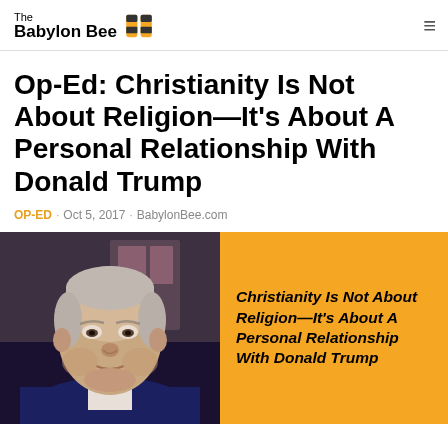The Babylon Bee
Op-Ed: Christianity Is Not About Religion—It's About A Personal Relationship With Donald Trump
OP-ED · Oct 5, 2017 · BabylonBee.com
[Figure (photo): Elderly man in suit on left half; orange background on right with italic bold text: Christianity Is Not About Religion—It's About A Personal Relationship With Donald Trump]